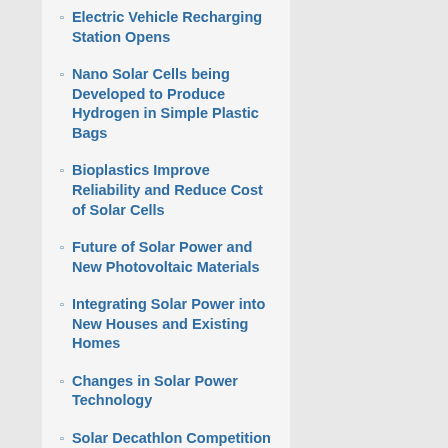Electric Vehicle Recharging Station Opens
Nano Solar Cells being Developed to Produce Hydrogen in Simple Plastic Bags
Bioplastics Improve Reliability and Reduce Cost of Solar Cells
Future of Solar Power and New Photovoltaic Materials
Integrating Solar Power into New Houses and Existing Homes
Changes in Solar Power Technology
Solar Decathlon Competition inspires new Green Home Designs
Efficiency of Solar Cells and the Materials used to Make them
Hypergreen Tower - A Green Skyscraper for a Sustainable Future of City Building